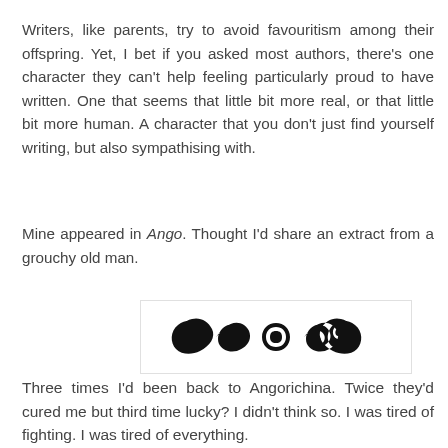Writers, like parents, try to avoid favouritism among their offspring. Yet, I bet if you asked most authors, there's one character they can't help feeling particularly proud to have written. One that seems that little bit more real, or that little bit more human. A character that you don't just find yourself writing, but also sympathising with.
Mine appeared in Ango. Thought I'd share an extract from a grouchy old man.
[Figure (illustration): Decorative ornamental divider with swirling scroll design in black on white background with light border]
Three times I'd been back to Angorichina. Twice they'd cured me but third time lucky? I didn't think so. I was tired of fighting. I was tired of everything.